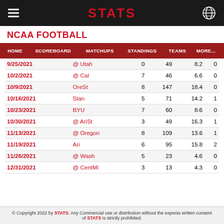STATS
NCAA FOOTBALL
HOME  SCOREBOARD  MATCHUPS  STANDINGS  TEAMS  MORE...
| Date | Opponent |  |  |  |  |
| --- | --- | --- | --- | --- | --- |
| 9/25/2021 | @ Utah | 0 | 49 | 8.2 | 0 |
| 10/2/2021 | @ Cal | 7 | 46 | 6.6 | 0 |
| 10/9/2021 | OreSt | 8 | 147 | 18.4 | 0 |
| 10/16/2021 | Stan | 5 | 71 | 14.2 | 1 |
| 10/23/2021 | BYU | 7 | 60 | 8.6 | 0 |
| 10/30/2021 | @ AriSt | 3 | 49 | 16.3 | 1 |
| 11/13/2021 | @ Oregon | 8 | 109 | 13.6 | 1 |
| 11/19/2021 | Ari | 6 | 95 | 15.8 | 2 |
| 11/26/2021 | @ Wash | 5 | 23 | 4.6 | 0 |
| 12/31/2021 | @ CentMi | 3 | 13 | 4.3 | 0 |
© Copyright 2022 by STATS. Any Commercial use or distribution without the express written consent of STATS is strictly prohibited.